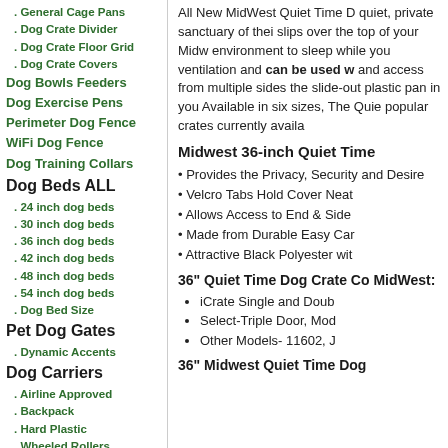. General Cage Pans
. Dog Crate Divider
. Dog Crate Floor Grid
. Dog Crate Covers
Dog Bowls Feeders
Dog Exercise Pens
Perimeter Dog Fence
WiFi Dog Fence
Dog Training Collars
Dog Beds ALL
. 24 inch dog beds
. 30 inch dog beds
. 36 inch dog beds
. 42 inch dog beds
. 48 inch dog beds
. 54 inch dog beds
. Dog Bed Size
Pet Dog Gates
. Dynamic Accents
Dog Carriers
. Airline Approved
. Backpack
. Hard Plastic
. Wheeled Rollers
. Shoulder Tote
All New MidWest Quiet Time D... quiet, private sanctuary of thei... slips over the top of your Midw... environment to sleep while yo... ventilation and can be used w... and access from multiple sides... the slide-out plastic pan in yo... Available in six sizes, The Qui... popular crates currently availa...
Midwest 36-inch Quiet Time
• Provides the Privacy, Security and Desire
• Velcro Tabs Hold Cover Neat
• Allows Access to End & Side
• Made from Durable Easy Car
• Attractive Black Polyester wit
36" Quiet Time Dog Crate Co... MidWest:
iCrate Single and Doub
Select-Triple Door, Mod
Other Models- 11602, J
36" Midwest Quiet Time Dog